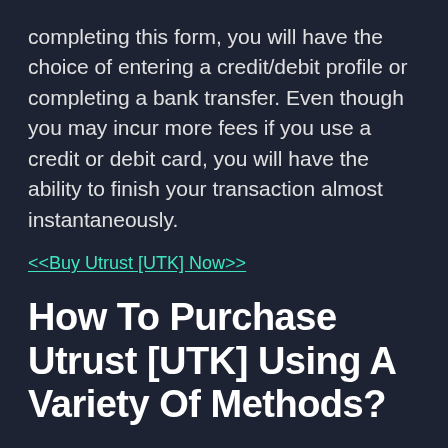completing this form, you will have the choice of entering a credit/debit profile or completing a bank transfer. Even though you may incur more fees if you use a credit or debit card, you will have the ability to finish your transaction almost instantaneously.
<<Buy Utrust [UTK] Now>>
How To Purchase Utrust [UTK] Using A Variety Of Methods?
The cryptocurrency VAI has been published on a variety of cryptocurrency exchanges; but, unlike